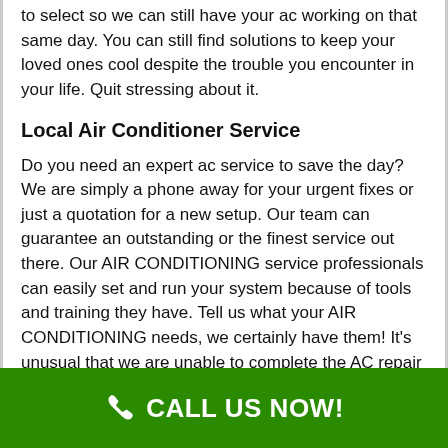to select so we can still have your ac working on that same day. You can still find solutions to keep your loved ones cool despite the trouble you encounter in your life. Quit stressing about it.
Local Air Conditioner Service
Do you need an expert ac service to save the day? We are simply a phone away for your urgent fixes or just a quotation for a new setup. Our team can guarantee an outstanding or the finest service out there. Our AIR CONDITIONING service professionals can easily set and run your system because of tools and training they have. Tell us what your AIR CONDITIONING needs, we certainly have them! It's unusual that we are unable to complete the AC repair works within the working day. Homeowners usually are busy taking good care of their main work and attending to the needs of bad AC could possibly be worrisome to them. Here comes our support, we could be of great support.
CALL US NOW!